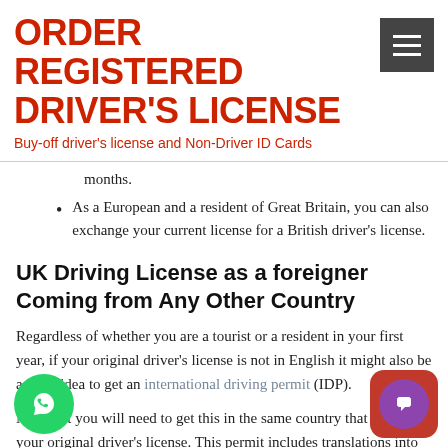ORDER REGISTERED DRIVER'S LICENSE
Buy-off driver's license and Non-Driver ID Cards
months.
As a European and a resident of Great Britain, you can also exchange your current license for a British driver's license.
UK Driving License as a foreigner Coming from Any Other Country
Regardless of whether you are a tourist or a resident in your first year, if your original driver's license is not in English it might also be a good idea to get an international driving permit (IDP).
Note that you will need to get this in the same country that issued your original driver's license. This permit includes translations into multiple languages and ensures, in combination with your foreign license, that officials around the world are able